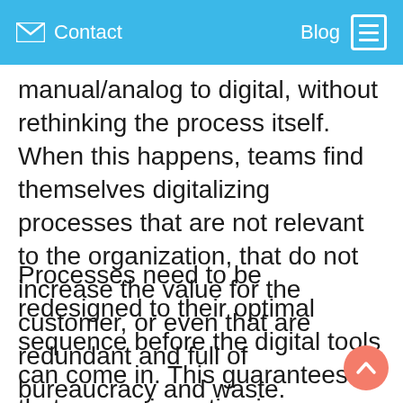Contact | Blog
manual/analog to digital, without rethinking the process itself. When this happens, teams find themselves digitalizing processes that are not relevant to the organization, that do not increase the value for the customer, or even that are redundant and full of bureaucracy and waste.
Processes need to be redesigned to their optimal sequence before the digital tools can come in. This guarantees that we are investing in digitalizing only the critical tasks and